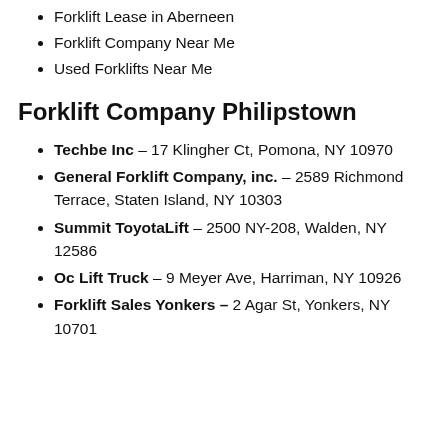Forklift Lease in Aberneen
Forklift Company Near Me
Used Forklifts Near Me
Forklift Company Philipstown
Techbe Inc – 17 Klingher Ct, Pomona, NY 10970
General Forklift Company, inc. – 2589 Richmond Terrace, Staten Island, NY 10303
Summit ToyotaLift – 2500 NY-208, Walden, NY 12586
Oc Lift Truck – 9 Meyer Ave, Harriman, NY 10926
Forklift Sales Yonkers – 2 Agar St, Yonkers, NY 10701